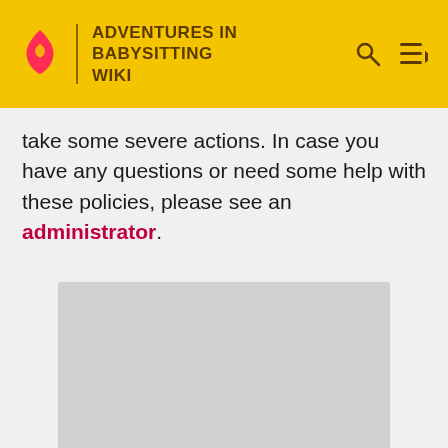ADVENTURES IN BABYSITTING WIKI
take some severe actions. In case you have any questions or need some help with these policies, please see an administrator.
[Figure (other): Gray advertisement placeholder box]
ADVERTISEMENT